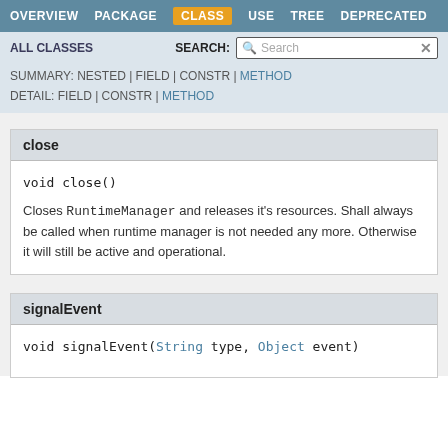OVERVIEW  PACKAGE  CLASS  USE  TREE  DEPRECATED
ALL CLASSES  SEARCH:  [Search]
SUMMARY: NESTED | FIELD | CONSTR | METHOD
DETAIL: FIELD | CONSTR | METHOD
close
void close()
Closes RuntimeManager and releases it's resources. Shall always be called when runtime manager is not needed any more. Otherwise it will still be active and operational.
signalEvent
void signalEvent(String type, Object event)